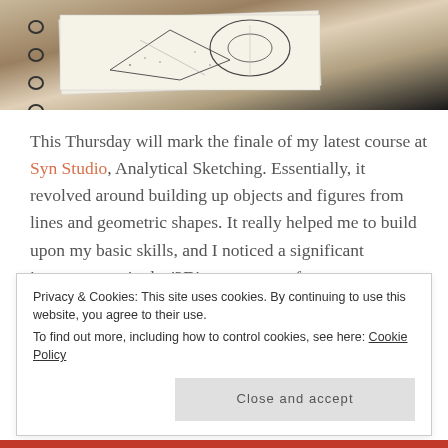[Figure (photo): Spiral-bound sketchbook open showing analytical sketches of geometric shapes and figures in pencil/ink, placed on a dark surface]
This Thursday will mark the finale of my latest course at Syn Studio, Analytical Sketching. Essentially, it revolved around building up objects and figures from lines and geometric shapes. It really helped me to build upon my basic skills, and I noticed a significant improvement in the '3D' appearance of my comparatively flat sketches. We
Privacy & Cookies: This site uses cookies. By continuing to use this website, you agree to their use.
To find out more, including how to control cookies, see here: Cookie Policy

Close and accept